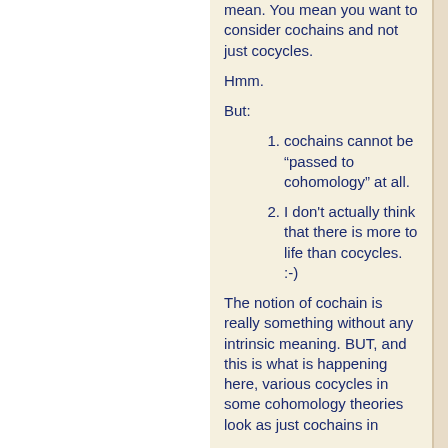mean. You mean you want to consider cochains and not just cocycles.
Hmm.
But:
cochains cannot be “passed to cohomology” at all.
I don't actually think that there is more to life than cocycles. :-)
The notion of cochain is really something without any intrinsic meaning. BUT, and this is what is happening here, various cocycles in some cohomology theories look as just cochains in